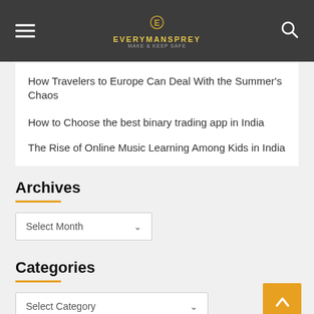EVERYMANSPREY
How Travelers to Europe Can Deal With the Summer's Chaos
How to Choose the best binary trading app in India
The Rise of Online Music Learning Among Kids in India
Archives
Select Month
Categories
Select Category